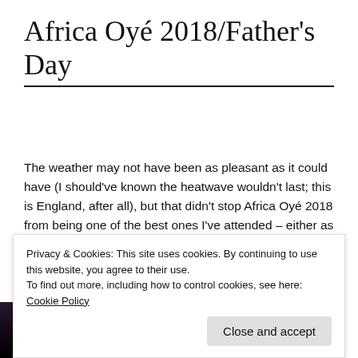Africa Oyé 2018/Father's Day
The weather may not have been as pleasant as it could have (I should've known the heatwave wouldn't last; this is England, after all), but that didn't stop Africa Oyé 2018 from being one of the best ones I've attended – either as a reviewer or as a guest DJ.
[Figure (photo): Dark photograph, partially visible, appears to show a concert scene]
Privacy & Cookies: This site uses cookies. By continuing to use this website, you agree to their use.
To find out more, including how to control cookies, see here: Cookie Policy
Close and accept